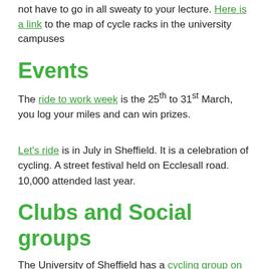not have to go in all sweaty to your lecture. Here is a link to the map of cycle racks in the university campuses
Events
The ride to work week is the 25th to 31st March, you log your miles and can win prizes.
Let's ride is in July in Sheffield. It is a celebration of cycling. A street festival held on Ecclesall road. 10,000 attended last year.
Clubs and Social groups
The University of Sheffield has a cycling group on Facebook